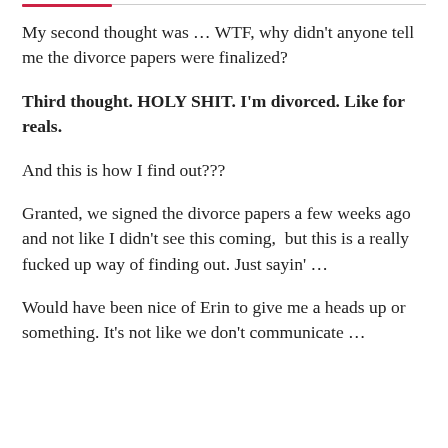My second thought was … WTF, why didn't anyone tell me the divorce papers were finalized?
Third thought. HOLY SHIT. I'm divorced. Like for reals.
And this is how I find out???
Granted, we signed the divorce papers a few weeks ago and not like I didn't see this coming,  but this is a really fucked up way of finding out. Just sayin' …
Would have been nice of Erin to give me a heads up or something. It's not like we don't communicate …